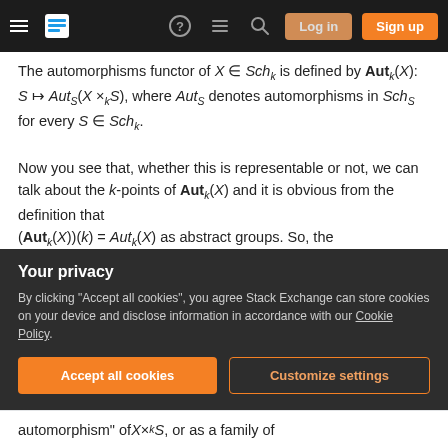Stack Exchange navigation bar with hamburger menu, logo, icons, Log in and Sign up buttons
The automorphisms functor of X ∈ Sch_k is defined by Aut_k(X): S ↦ Aut_S(X ×_k S), where Aut_S denotes automorphisms in Sch_S for every S ∈ Sch_k.
Now you see that, whether this is representable or not, we can talk about the k-points of Aut_k(X) and it is obvious from the definition that (Aut_k(X))(k) = Aut_k(X) as abstract groups. So, the automorphisms functor is designed to have as its k-points precisely the automorphisms of X as an object of Sch_k.
Your privacy
By clicking "Accept all cookies", you agree Stack Exchange can store cookies on your device and disclose information in accordance with our Cookie Policy.
Accept all cookies
Customize settings
automorphism" of X ×_k S, or as a family of